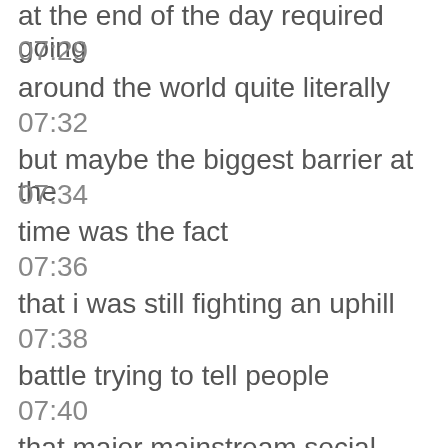at the end of the day required going
07:29
around the world quite literally
07:32
but maybe the biggest barrier at the
07:34
time was the fact
07:36
that i was still fighting an uphill
07:38
battle trying to tell people
07:40
that major mainstream social media
07:43
platforms